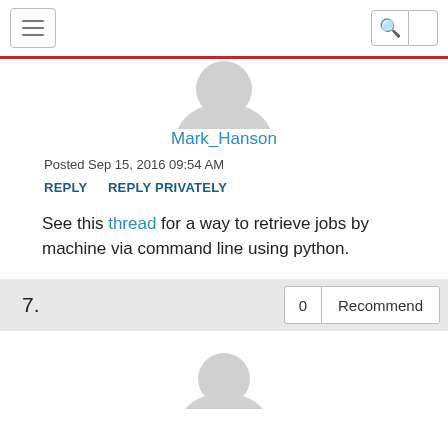[Figure (illustration): Generic user avatar (gray silhouette, top half cropped)]
Mark_Hanson
Posted Sep 15, 2016 09:54 AM
REPLY   REPLY PRIVATELY
See this thread for a way to retrieve jobs by machine via command line using python.
7.  0  Recommend
[Figure (illustration): Generic user avatar (gray silhouette, bottom portion visible)]